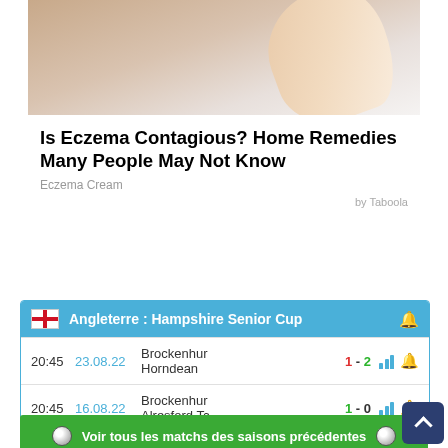[Figure (photo): Partial photo of a finger or hand touching a surface, with blurred warm background]
Is Eczema Contagious? Home Remedies Many People May Not Know
Eczema Cream
by Taboola
Angleterre : Hampshire Senior Cup
| Time | Date | Match | Score |
| --- | --- | --- | --- |
| 20:45 | 23.08.22 | Brockenhur vs Horndean | 1 - 2 |
| 20:45 | 16.08.22 | Brockenhur vs Alresford Tc | 1 - 0 |
Voir tous les matchs des saisons précédentes